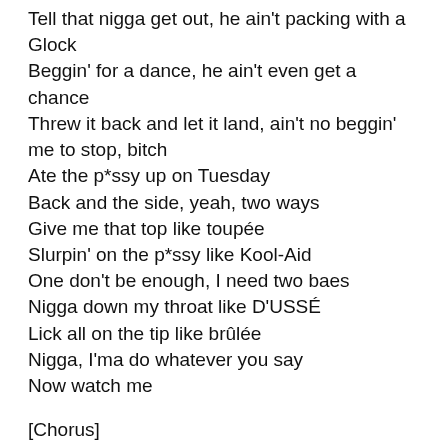Tell that nigga get out, he ain't packing with a Glock
Beggin' for a dance, he ain't even get a chance
Threw it back and let it land, ain't no beggin' me to stop, bitch
Ate the p*ssy up on Tuesday
Back and the side, yeah, two ways
Give me that top like toupée
Slurpin' on the p*ssy like Kool-Aid
One don't be enough, I need two baes
Nigga down my throat like D'USSÉ
Lick all on the tip like brûlée
Nigga, I'ma do whatever you say
Now watch me
[Chorus]
Bust it, bust it, bust it, bust it
Is you f*ckin'? Two shots, f*ck it